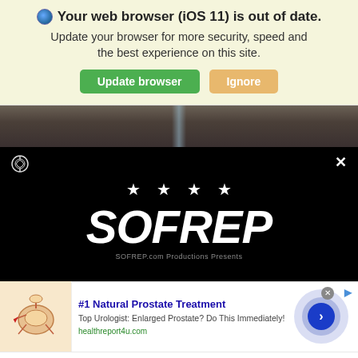Your web browser (iOS 11) is out of date. Update your browser for more security, speed and the best experience on this site.
Update browser | Ignore
[Figure (photo): Partial photo strip showing dark textured background with light beam]
[Figure (screenshot): SOFREP video player with black background, close button X, circular logo icon top-left, four stars, SOFREP wordmark, and 'SOFREP.com Productions Presents' subtitle]
[Figure (infographic): Advertisement banner: #1 Natural Prostate Treatment - Top Urologist: Enlarged Prostate? Do This Immediately! healthreport4u.com, with prostate illustration and blue arrow button]